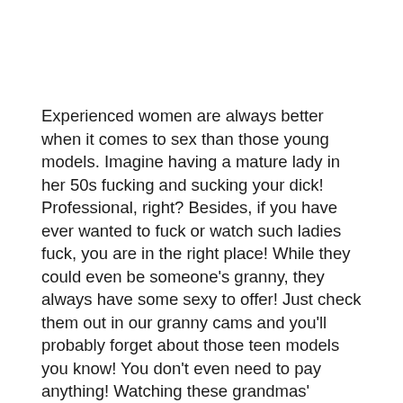Experienced women are always better when it comes to sex than those young models. Imagine having a mature lady in her 50s fucking and sucking your dick! Professional, right? Besides, if you have ever wanted to fuck or watch such ladies fuck, you are in the right place! While they could even be someone's granny, they always have some sexy to offer! Just check them out in our granny cams and you'll probably forget about those teen models you know! You don't even need to pay anything! Watching these grandmas'